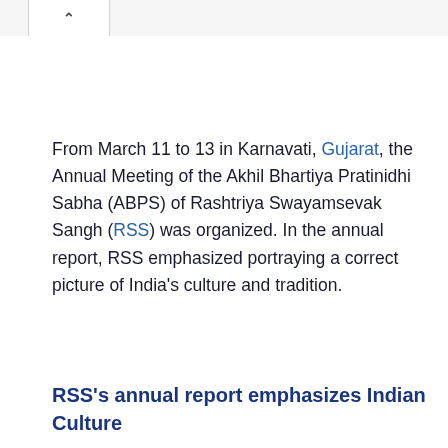^
From March 11 to 13 in Karnavati, Gujarat, the Annual Meeting of the Akhil Bhartiya Pratinidhi Sabha (ABPS) of Rashtriya Swayamsevak Sangh (RSS) was organized. In the annual report, RSS emphasized portraying a correct picture of India’s culture and tradition.
RSS’s annual report emphasizes Indian Culture